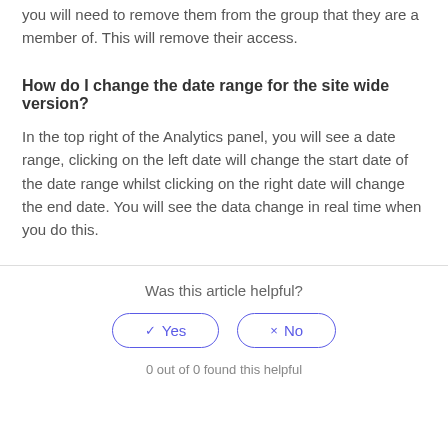you will need to remove them from the group that they are a member of. This will remove their access.
How do I change the date range for the site wide version?
In the top right of the Analytics panel, you will see a date range, clicking on the left date will change the start date of the date range whilst clicking on the right date will change the end date. You will see the data change in real time when you do this.
Was this article helpful?
Yes
No
0 out of 0 found this helpful